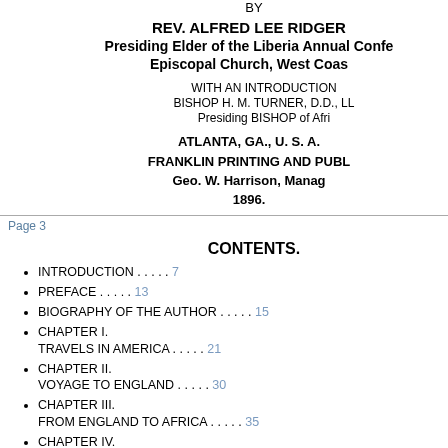BY
REV. ALFRED LEE RIDGER
Presiding Elder of the Liberia Annual Conference,
Episcopal Church, West Coast
WITH AN INTRODUCTION BY
BISHOP H. M. TURNER, D.D., LL.
Presiding BISHOP of Africa
ATLANTA, GA., U. S. A.
FRANKLIN PRINTING AND PUBL.
Geo. W. Harrison, Manager
1896.
Page 3
CONTENTS.
INTRODUCTION . . . . . 7
PREFACE . . . . . 13
BIOGRAPHY OF THE AUTHOR . . . . . 15
CHAPTER I.
TRAVELS IN AMERICA . . . . . 21
CHAPTER II.
VOYAGE TO ENGLAND . . . . . 30
CHAPTER III.
FROM ENGLAND TO AFRICA . . . . . 35
CHAPTER IV.